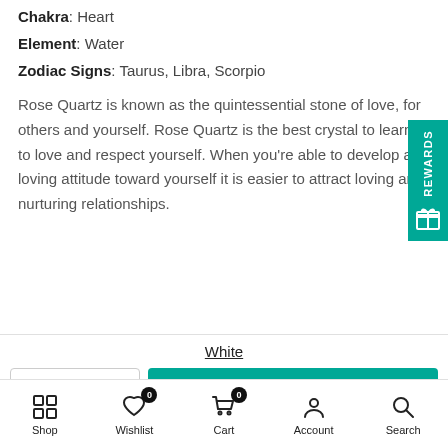Chakra: Heart
Element: Water
Zodiac Signs: Taurus, Libra, Scorpio
Rose Quartz is known as the quintessential stone of love, for others and yourself. Rose Quartz is the best crystal to learn to love and respect yourself. When you're able to develop a loving attitude toward yourself it is easier to attract loving and nurturing relationships.
White
ADD TO CART
Shop  Wishlist  Cart  Account  Search